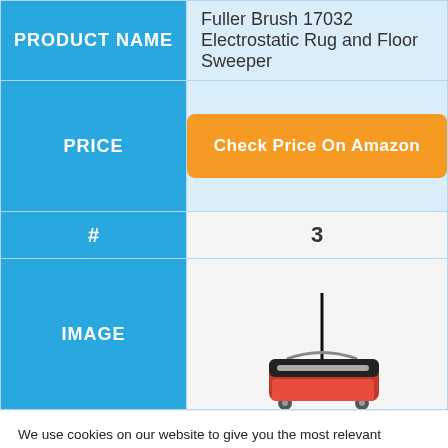| PRODUCT NAME |  |
| --- | --- |
| PRODUCT NAME | Fuller Brush 17032 Electrostatic Rug and Floor Sweeper |
| PRICE | Check Price On Amazon |
| # | 3 |
| IMAGE | (product image) |
We use cookies on our website to give you the most relevant experience by remembering your preferences and repeat visits. By clicking "Accept All", you consent to the use of ALL the cookies. However, you may visit "Cookie Settings" to provide a controlled consent.